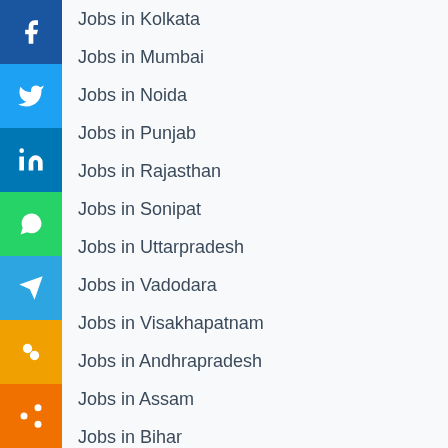[Figure (infographic): Social media sharing sidebar with Facebook, Twitter, LinkedIn, WhatsApp, Telegram, Copy link, and Share buttons]
Jobs in Kolkata
Jobs in Mumbai
Jobs in Noida
Jobs in Punjab
Jobs in Rajasthan
Jobs in Sonipat
Jobs in Uttarpradesh
Jobs in Vadodara
Jobs in Visakhapatnam
Jobs in Andhrapradesh
Jobs in Assam
Jobs in Bihar
Jobs in Chhattisgarh